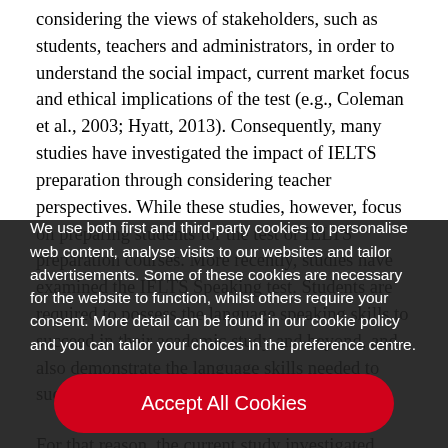considering the views of stakeholders, such as students, teachers and administrators, in order to understand the social impact, current market focus and ethical implications of the test (e.g., Coleman et al., 2003; Hyatt, 2013). Consequently, many studies have investigated the impact of IELTS preparation through considering teacher perspectives. While these studies, however, focus on preparing students for the test or IELTS preparation courses. More recently, studies have examined the IELTS Speaking test. Students are required to possess the language speaking skills to succeed in their academic study and beyond, and also demonstrate the language skills needed to succeed in their chosen field of studying.
We use both first and third-party cookies to personalise web content, analyse visits to our websites and tailor advertisements. Some of these cookies are necessary for the website to function, whilst others require your consent. More detail can be found in our cookie policy and you can tailor your choices in the preference centre.
Accept All Cookies
Cookies Settings
For that reason, the current study investigated Japanese stakeholder perceptions of IELTS Writing and Speaking Tests, and their impact on